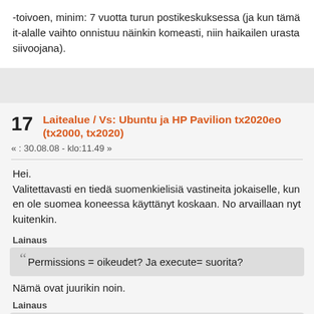-toivoen, minim: 7 vuotta turun postikeskuksessa (ja kun tämä it-alalle vaihto onnistuu näinkin komeasti, niin haikailen urasta siivoojana).
17  Laitealue / Vs: Ubuntu ja HP Pavilion tx2020eo (tx2000, tx2020)
« : 30.08.08 - klo:11.49 »
Hei.
Valitettavasti en tiedä suomenkielisiä vastineita jokaiselle, kun en ole suomea koneessa käyttänyt koskaan. No arvaillaan nyt kuitenkin.
Lainaus
““Permissions  = oikeudet? Ja execute= suorita?
Nämä ovat juurikin noin.
Lainaus